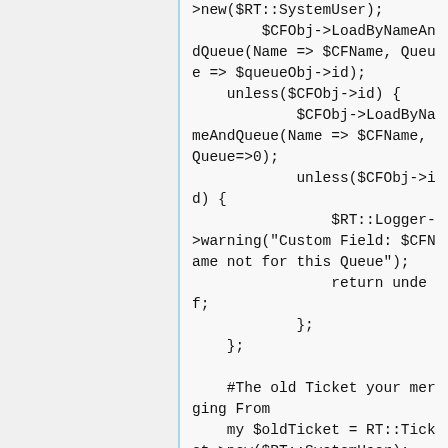[Figure (screenshot): Code snippet showing Perl/RT code: loading custom field objects by name and queue, checking for existence, logging a warning if not found, returning undef, and initializing an old ticket object.]